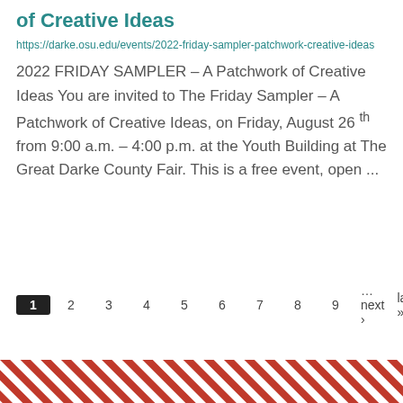of Creative Ideas
https://darke.osu.edu/events/2022-friday-sampler-patchwork-creative-ideas
2022 FRIDAY SAMPLER – A Patchwork of Creative Ideas You are invited to The Friday Sampler – A Patchwork of Creative Ideas, on Friday, August 26 th from 9:00 a.m. – 4:00 p.m. at the Youth Building at The Great Darke County Fair. This is a free event, open ...
1 2 3 4 5 6 7 8 9 …next › last »